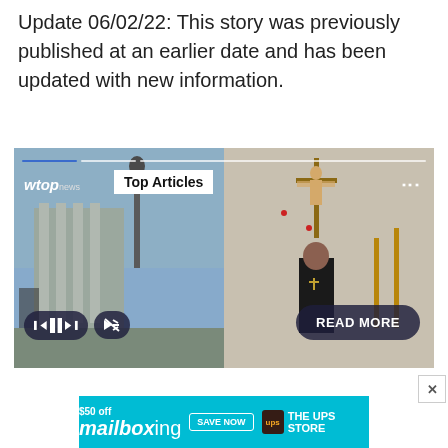Update 06/02/22: This story was previously published at an earlier date and has been updated with new information.
[Figure (screenshot): WTOP News video player showing two images side by side: left side shows an outdoor statue/monument with columns, right side shows a priest in black standing in a church in front of a crucifix. Overlay shows 'Top Articles' badge, WTOP news logo, playback controls (rewind, pause, fast-forward, mute), and a 'READ MORE' button.]
[Figure (other): Advertisement banner: $50 off mailboxing, Save Now button, UPS The UPS Store logo on cyan background.]